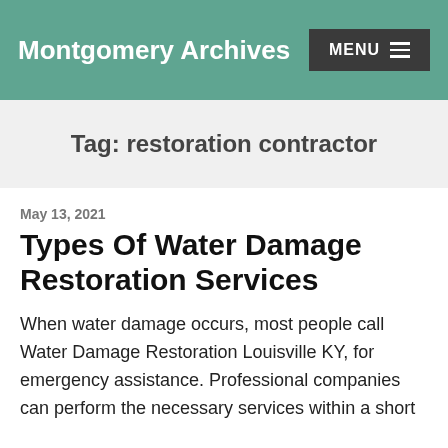Montgomery Archives  MENU
Tag: restoration contractor
May 13, 2021
Types Of Water Damage Restoration Services
When water damage occurs, most people call Water Damage Restoration Louisville KY, for emergency assistance. Professional companies can perform the necessary services within a short